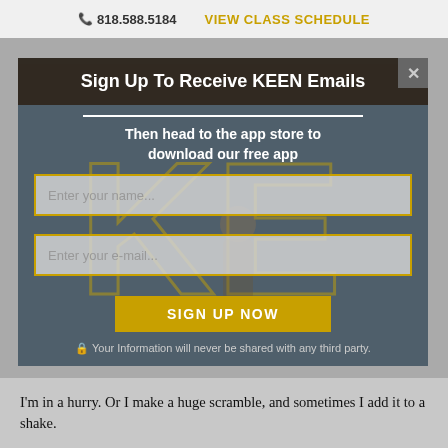📞 818.588.5184   VIEW CLASS SCHEDULE
[Figure (screenshot): Modal popup dialog over a dimmed webpage background with large KE letters in gold/yellow on dark background]
Sign Up To Receive KEEN Emails
Then head to the app store to download our free app
Enter your name...
Enter your e-mail...
SIGN UP NOW
🔒 Your Information will never be shared with any third party.
I'm in a hurry.  Or I make a huge scramble, and sometimes I add it to a shake.